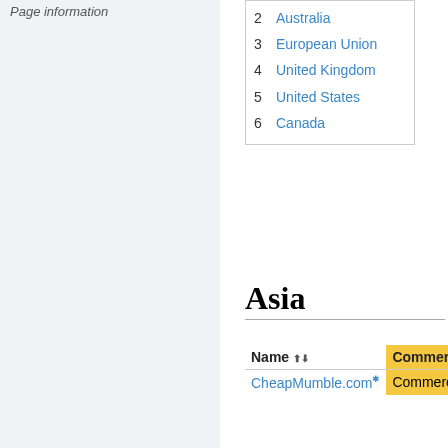Page information
2 Australia
3 European Union
4 United Kingdom
5 United States
6 Canada
Asia
| Name | Commercial |
| --- | --- |
| CheapMumble.com | Commercial |